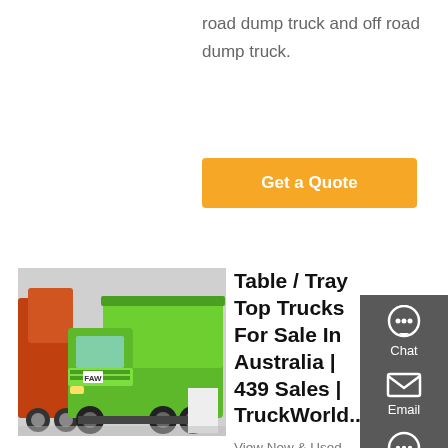road dump truck and off road dump truck.
Get a Quote
[Figure (photo): Green dump truck (FAW brand) displayed in a showroom, with orange/red truck visible on the left side]
Table / Tray Top Trucks For Sale In Australia | 439 Sales | TruckWorld...
View New & Used Table / Tray Top Trucks For Sale in Australia at Truckworld.com.au. Find the lowest prices on 1000s of trucks, trailers, commercial vehicles at TruckWorld Australia *This